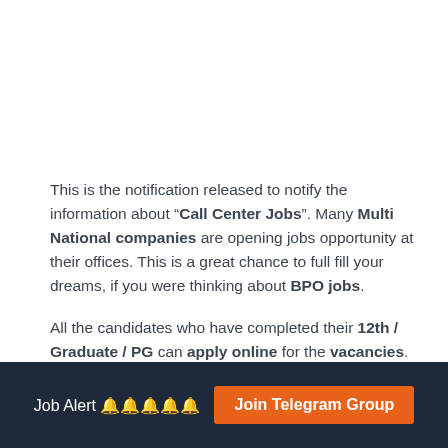This is the notification released to notify the information about “Call Center Jobs”. Many Multi National companies are opening jobs opportunity at their offices. This is a great chance to full fill your dreams, if you were thinking about BPO jobs.
All the candidates who have completed their 12th / Graduate / PG can apply online for the vacancies. All rest details like “how to apply” , “Selection Process” is given below.
Job Alert 🔔🔔🔔🔔🔔  Join Telegram Group